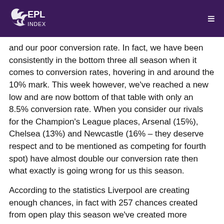EPL Index
and our poor conversion rate. In fact, we have been consistently in the bottom three all season when it comes to conversion rates, hovering in and around the 10% mark. This week however, we've reached a new low and are now bottom of that table with only an 8.5% conversion rate. When you consider our rivals for the Champion's League places, Arsenal (15%), Chelsea (13%) and Newcastle (16% – they deserve respect and to be mentioned as competing for fourth spot) have almost double our conversion rate then what exactly is going wrong for us this season.
According to the statistics Liverpool are creating enough chances, in fact with 257 chances created from open play this season we've created more chances than Man United who've created 240 from open play. We are also creating more chances per game than in our previous seasons, creating 10.71 per game this season, compared to 8.87 per